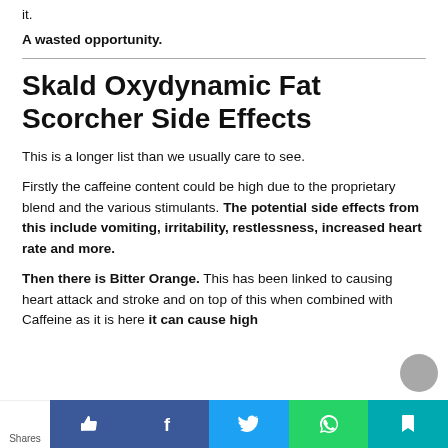it.
A wasted opportunity.
Skald Oxydynamic Fat Scorcher Side Effects
This is a longer list than we usually care to see.
Firstly the caffeine content could be high due to the proprietary blend and the various stimulants. The potential side effects from this include vomiting, irritability, restlessness, increased heart rate and more.
Then there is Bitter Orange. This has been linked to causing heart attack and stroke and on top of this when combined with Caffeine as it is here it can cause high